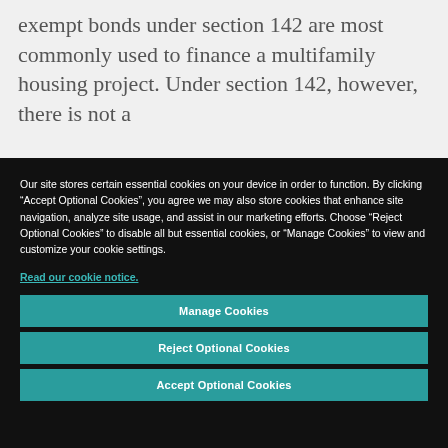exempt bonds under section 142 are most commonly used to finance a multifamily housing project. Under section 142, however, there is not a
Our site stores certain essential cookies on your device in order to function. By clicking “Accept Optional Cookies”, you agree we may also store cookies that enhance site navigation, analyze site usage, and assist in our marketing efforts. Choose “Reject Optional Cookies” to disable all but essential cookies, or “Manage Cookies” to view and customize your cookie settings.
Read our cookie notice.
Manage Cookies
Reject Optional Cookies
Accept Optional Cookies